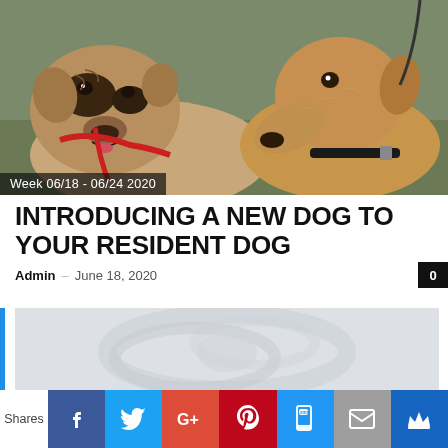[Figure (photo): Two dogs sniffing each other, a bulldog with a red harness on the left and a golden/tan dog with a black collar on the right, on a grassy background.]
Week 06/18 - 06/24 2020
INTRODUCING A NEW DOG TO YOUR RESIDENT DOG
Admin  -  June 18, 2020
[Figure (photo): A faded/washed-out image, mostly light gray, appears to show a dog or animal outdoors.]
Shares